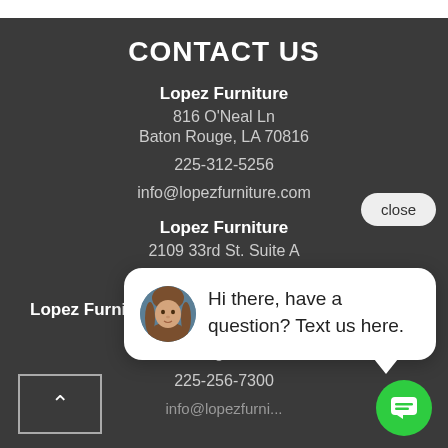CONTACT US
Lopez Furniture
816 O'Neal Ln
Baton Rouge, LA 70816
225-312-5256
info@lopezfurniture.com
Lopez Furniture
2109 33rd St. Suite A
[Figure (screenshot): Chat popup with avatar photo of a woman and text: 'Hi there, have a question? Text us here.' with a close button and green chat icon button]
Lopez Furniture Warehouse
15500 Florida Blvd.
Baton Rouge, LA 70816
225-256-7300
info@lopezfurni...